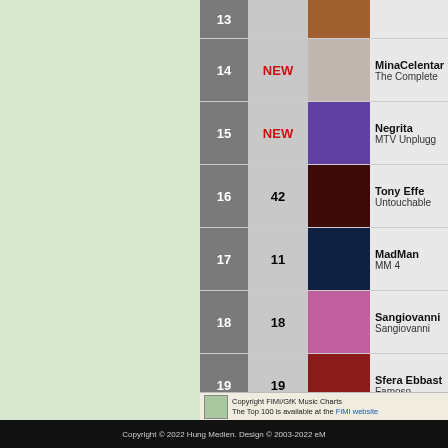| # | Prev | Cover | Artist / Album |
| --- | --- | --- | --- |
| 14 | NEW |  | MinaCelentano / The Complete |
| 15 | NEW |  | Negrita / MTV Unplugg |
| 16 | 42 |  | Tony Effe / Untouchable |
| 17 | 11 |  | MadMan / MM 4 |
| 18 | 18 |  | Sangiovanni / Sangiovanni |
| 19 | 19 |  | Sfera Ebbast / Famoso |
| 20 | 17 |  | Madame / Madame |
Copyright FIMI/GfK Music Charts
The Top 100 is available at the FIMI website
Copyright © 2022 Hung Medien. Design © 2003-2022 eM